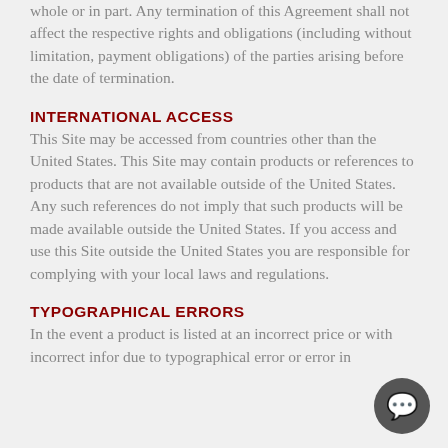whole or in part.  Any termination of this Agreement shall not affect the respective rights and obligations (including without limitation, payment obligations) of the parties arising before the date of termination.
INTERNATIONAL ACCESS
This Site may be accessed from countries other than the United States.  This Site may contain products or references to products that are not available outside of the United States.  Any such references do not imply that such products will be made available outside the United States.  If you access and use this Site outside the United States you are responsible for complying with your local laws and regulations.
TYPOGRAPHICAL ERRORS
In the event a product is listed at an incorrect price or with incorrect infor due to typographical error or error in